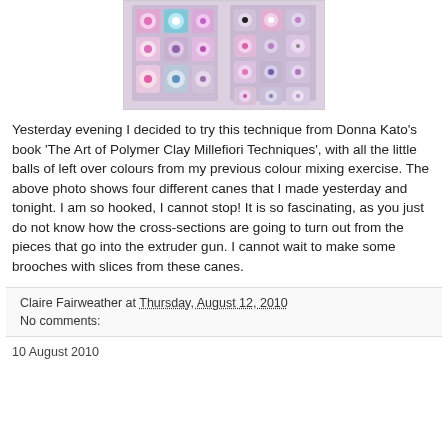[Figure (photo): Photo of four polymer clay millefiori canes showing colorful square cross-sections with circles and patterns in pink, purple, teal, black and white colors, against a light grey/white background.]
Yesterday evening I decided to try this technique from Donna Kato's book 'The Art of Polymer Clay Millefiori Techniques', with all the little balls of left over colours from my previous colour mixing exercise. The above photo shows four different canes that I made yesterday and tonight. I am so hooked, I cannot stop! It is so fascinating, as you just do not know how the cross-sections are going to turn out from the pieces that go into the extruder gun. I cannot wait to make some brooches with slices from these canes.
Claire Fairweather at Thursday, August 12, 2010
No comments:
10 August 2010